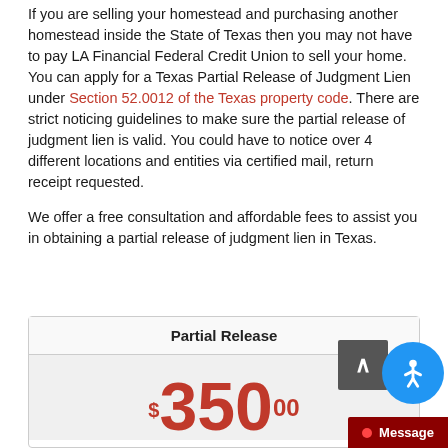If you are selling your homestead and purchasing another homestead inside the State of Texas then you may not have to pay LA Financial Federal Credit Union to sell your home. You can apply for a Texas Partial Release of Judgment Lien under Section 52.0012 of the Texas property code. There are strict noticing guidelines to make sure the partial release of judgment lien is valid. You could have to notice over 4 different locations and entities via certified mail, return receipt requested.
We offer a free consultation and affordable fees to assist you in obtaining a partial release of judgment lien in Texas.
| Partial Release |
| --- |
| $350.00 |